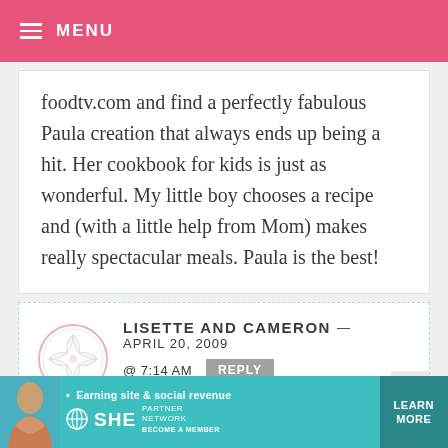MENU
foodtv.com and find a perfectly fabulous Paula creation that always ends up being a hit. Her cookbook for kids is just as wonderful. My little boy chooses a recipe and (with a little help from Mom) makes really spectacular meals. Paula is the best!
LISETTE AND CAMERON — APRIL 20, 2009 @ 7:14 AM REPLY
[Figure (illustration): Circular avatar placeholder with decorative pattern]
[Figure (infographic): SHE Partner Network advertisement banner: Earning site & social revenue. LEARN MORE. BECOME A MEMBER.]